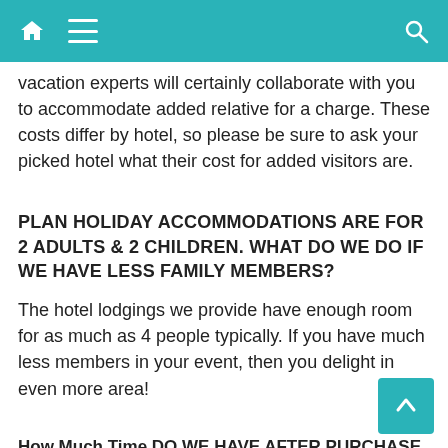[navigation bar with home, menu, and search icons]
vacation experts will certainly collaborate with you to accommodate added relative for a charge. These costs differ by hotel, so please be sure to ask your picked hotel what their cost for added visitors are.
PLAN HOLIDAY ACCOMMODATIONS ARE FOR 2 ADULTS & 2 CHILDREN. WHAT DO WE DO IF WE HAVE LESS FAMILY MEMBERS?
The hotel lodgings we provide have enough room for as much as 4 people typically. If you have much less members in your event, then you delight in even more area!
How Much Time DO WE HAVE AFTER PURCHASE TO USAGE OUR TRIP VACATION?